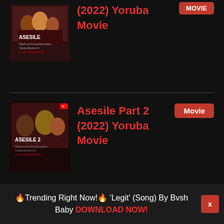[Figure (screenshot): Partial movie listing card for 'Asesile (2022) Yoruba Movie' with thumbnail image and red Movie badge, top portion cropped]
(2022) Yoruba Movie
[Figure (screenshot): Movie thumbnail for Asesile Part 2 with dark background and overlay text]
Asesile Part 2 (2022) Yoruba Movie
[Figure (screenshot): Partial movie card showing Bamidele Agoro with light blue background]
Bamidele Agoro
🔥Trending Right Now!🔥 'Legit' (Song) By Bvsh Baby DOWNLOAD NOW!